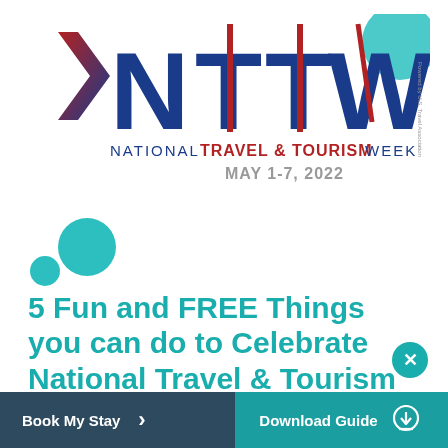[Figure (logo): NTTW National Travel & Tourism Week logo with large stylized letters N, T, T, W in blue with red accents, a chevron/arrow shape on the left in red-blue gradient, a teal circle top right, text 'Powered by U.S. Travel Association', below: 'NATIONAL TRAVEL & TOURISM WEEK' and 'MAY 1-7, 2022']
[Figure (illustration): Two decorative teal circles, one large and one small, on the left side of the page]
5 Fun and FREE Things you can do to Celebrate National Travel & Tourism Week
Book My Stay  >  Download Guide